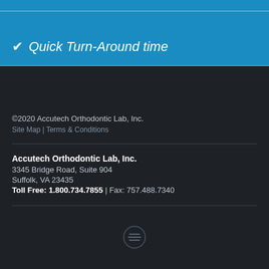✓ Quick Turn-Around time
©2020 Accutech Orthodontic Lab, Inc.
Site Map | Terms & Conditions
Accutech Orthodontic Lab, Inc.
3345 Bridge Road, Suite 904
Suffolk, VA 23435
Toll Free: 1.800.734.7855 | Fax: 757.488.7340
[Figure (logo): Small circular icon with horizontal lines, resembling a social or sharing icon]